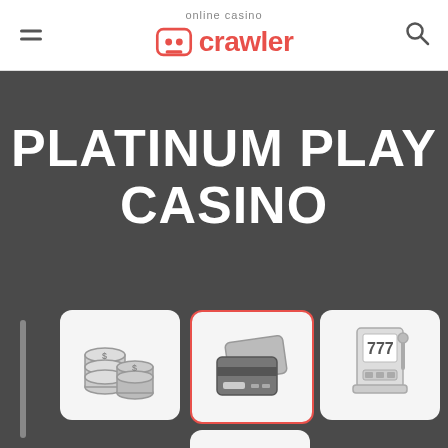online casino crawler
PLATINUM PLAY CASINO
[Figure (infographic): Four icon cards on dark background: stacked coins (bonuses), credit cards (payment methods), slot machine (games), padlock with combination (security)]